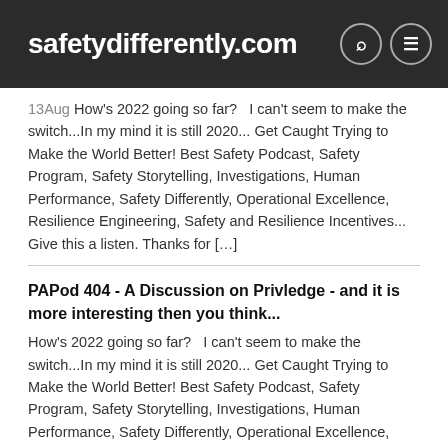safetydifferently.com
13Aug How's 2022 going so far?   I can't seem to make the switch...In my mind it is still 2020... Get Caught Trying to Make the World Better! Best Safety Podcast, Safety Program, Safety Storytelling, Investigations, Human Performance, Safety Differently, Operational Excellence, Resilience Engineering, Safety and Resilience Incentives... Give this a listen. Thanks for […]
PAPod 404 - A Discussion on Privledge - and it is more interesting then you think...
How's 2022 going so far?   I can't seem to make the switch...In my mind it is still 2020... Get Caught Trying to Make the World Better! Best Safety Podcast, Safety Program, Safety Storytelling, Investigations, Human Performance, Safety Differently, Operational Excellence, Resilience Engineering, Safety and Resilience Incentives... Give this a listen. Thanks for listening and […]
Safety Moment - Chicken and the Egg